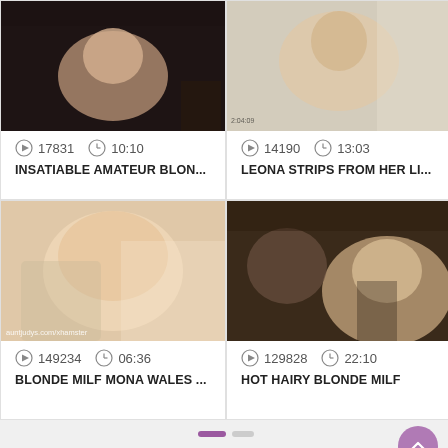[Figure (screenshot): Video thumbnail top-left: adult content]
17831   10:10
INSATIABLE AMATEUR BLON...
[Figure (screenshot): Video thumbnail top-right: adult content, timestamp 2:04:09]
14190   13:03
LEONA STRIPS FROM HER LI...
[Figure (screenshot): Video thumbnail bottom-left: adult content, watermark auntjudys.com/xhamster]
149234   06:36
BLONDE MILF MONA WALES ...
[Figure (screenshot): Video thumbnail bottom-right: adult content]
129828   22:10
HOT HAIRY BLONDE MILF